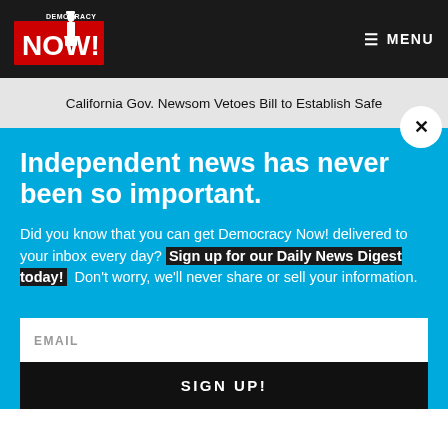Democracy Now! — MENU
California Gov. Newsom Vetoes Bill to Establish Safe
Independent news has never been so important.
Did you know that you can get Democracy Now! delivered to your inbox every day? Sign up for our Daily News Digest today! Don't worry, we'll never share or sell your information.
EMAIL
SIGN UP!